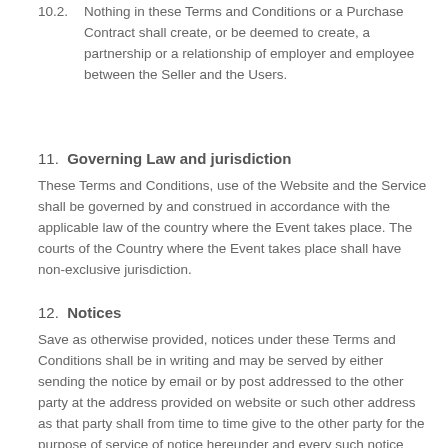10.2. Nothing in these Terms and Conditions or a Purchase Contract shall create, or be deemed to create, a partnership or a relationship of employer and employee between the Seller and the Users.
11. Governing Law and jurisdiction
These Terms and Conditions, use of the Website and the Service shall be governed by and construed in accordance with the applicable law of the country where the Event takes place. The courts of the Country where the Event takes place shall have non-exclusive jurisdiction.
12. Notices
Save as otherwise provided, notices under these Terms and Conditions shall be in writing and may be served by either sending the notice by email or by post addressed to the other party at the address provided on website or such other address as that party shall from time to time give to the other party for the purpose of service of notice hereunder and every such notice shall be deemed to have